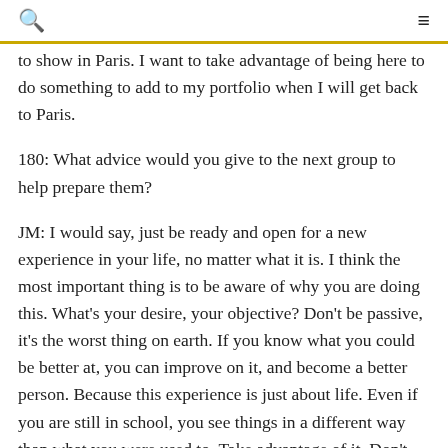to show in Paris. I want to take advantage of being here to do something to add to my portfolio when I will get back to Paris.
180: What advice would you give to the next group to help prepare them?
JM: I would say, just be ready and open for a new experience in your life, no matter what it is. I think the most important thing is to be aware of why you are doing this. What's your desire, your objective? Don't be passive, it's the worst thing on earth. If you know what you could be better at, you can improve on it, and become a better person. Because this experience is just about life. Even if you are still in school, you see things in a different way than what you were used to. Take advantage of it. Don't think too much about class but about life in general, travel in the U.S. to discover and understand more and